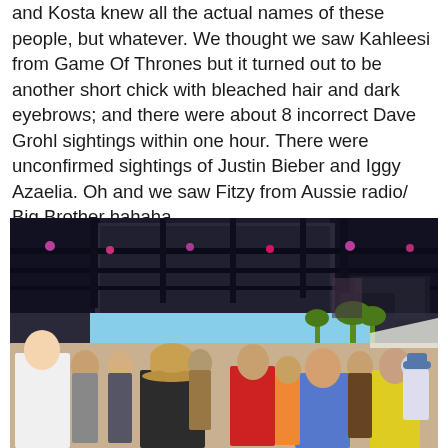and Kosta knew all the actual names of these people, but whatever. We thought we saw Kahleesi from Game Of Thrones but it turned out to be another short chick with bleached hair and dark eyebrows; and there were about 8 incorrect Dave Grohl sightings within one hour. There were unconfirmed sightings of Justin Bieber and Iggy Azaelia. Oh and we saw Fitzy from Aussie radio/ Big Brother hahaha.
[Figure (photo): Crowd of festival attendees viewed from behind, facing a large concert stage with rigging, screens, and stage lighting under a blue sky. Palm trees visible in the background.]